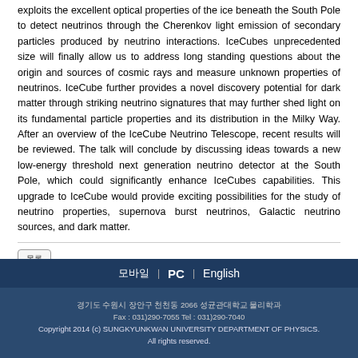exploits the excellent optical properties of the ice beneath the South Pole to detect neutrinos through the Cherenkov light emission of secondary particles produced by neutrino interactions. IceCubes unprecedented size will finally allow us to address long standing questions about the origin and sources of cosmic rays and measure unknown properties of neutrinos. IceCube further provides a novel discovery potential for dark matter through striking neutrino signatures that may further shed light on its fundamental particle properties and its distribution in the Milky Way. After an overview of the IceCube Neutrino Telescope, recent results will be reviewed. The talk will conclude by discussing ideas towards a new low-energy threshold next generation neutrino detector at the South Pole, which could significantly enhance IceCubes capabilities. This upgrade to IceCube would provide exciting possibilities for the study of neutrino properties, supernova burst neutrinos, Galactic neutrino sources, and dark matter.
목록
모바일 | PC | English
경기도 수원시 장안구 천천동 2066 성균관대학교 물리학과
Fax : 031)290-7055 Tel : 031)290-7040
Copyright 2014 (c) SUNGKYUNKWAN UNIVERSITY DEPARTMENT OF PHYSICS. All rights reserved.